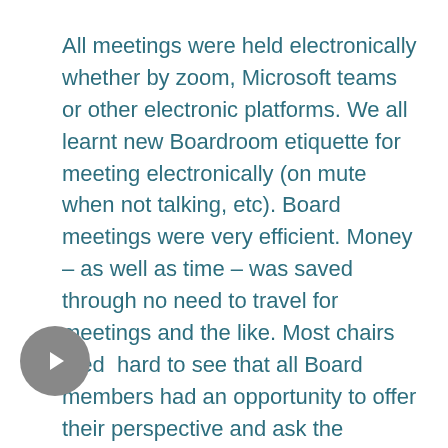All meetings were held electronically whether by zoom, Microsoft teams or other electronic platforms. We all learnt new Boardroom etiquette for meeting electronically (on mute when not talking, etc). Board meetings were very efficient. Money – as well as time – was saved through no need to travel for meetings and the like. Most chairs tried  hard to see that all Board members had an opportunity to offer their perspective and ask the questions they needed to get comfortable with a recommendation or decision. However, on stepping back now into physical meetings – while meeting electronically does work – you do miss the more natural flow of discussion and the ability to naturally bounce off one another that a physical meeting provides. While one can always ring a Board colleague for a chat about an issue in advance of an electronic meeting, the physical meeting and the time